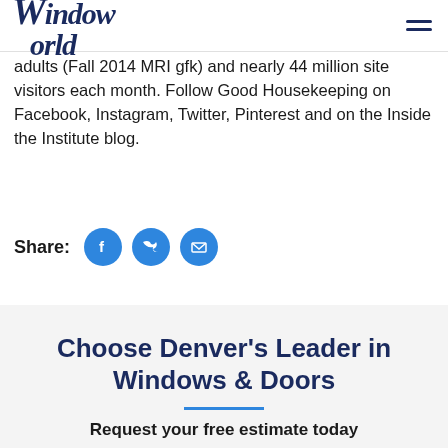Window World
adults (Fall 2014 MRI gfk) and nearly 44 million site visitors each month. Follow Good Housekeeping on Facebook, Instagram, Twitter, Pinterest and on the Inside the Institute blog.
[Figure (infographic): Share buttons: Facebook, Twitter, Email icons with Share: label]
Choose Denver's Leader in Windows & Doors
Request your free estimate today